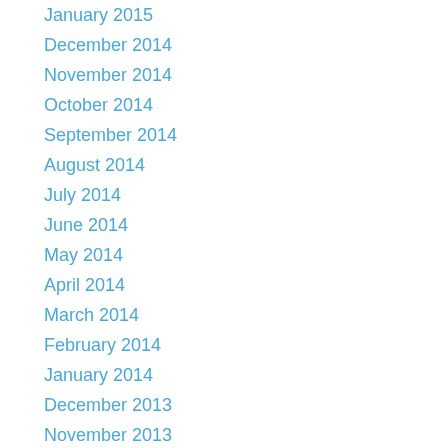January 2015
December 2014
November 2014
October 2014
September 2014
August 2014
July 2014
June 2014
May 2014
April 2014
March 2014
February 2014
January 2014
December 2013
November 2013
October 2013
September 2013
August 2013
July 2013
June 2013
May 2013